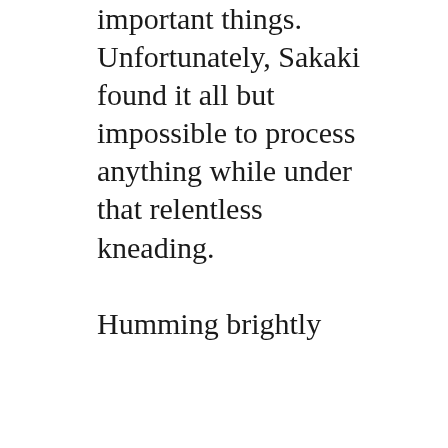important things. Unfortunately, Sakaki found it all but impossible to process anything while under that relentless kneading.

Humming brightly